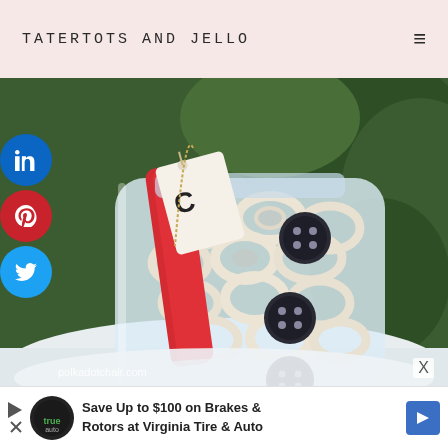TATERTOTS AND JELLO
[Figure (photo): A glass mason jar filled with white chocolate-covered pretzels decorated with three black buttons glued on the front, sitting in snow with a red scarf wrapped around its neck and a gift tag attached, photographed outdoors near evergreen trees. Watermark reads polkadotchair.com]
polkadotchair.com
X
Save Up to $100 on Brakes & Rotors at Virginia Tire & Auto